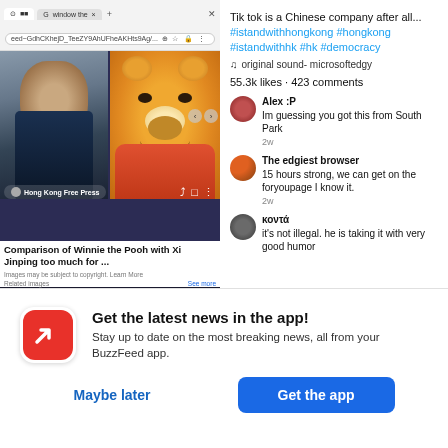[Figure (screenshot): TikTok app screenshot showing a comparison of Winnie the Pooh with Xi Jinping, with browser chrome visible at top. Shows source label 'Hong Kong Free Press', caption 'Comparison of Winnie the Pooh with Xi Jinping too much for ...']
Tik tok is a Chinese company after all... #istandwithhongkong #hongkong #istandwithhk #hk #democracy
♫ original sound - microsoftedgy
55.3k likes · 423 comments
Alex :P
Im guessing you got this from South Park
2w
The edgiest browser
15 hours strong, we can get on the foryoupage I know it.
2w
κοντά
it's not illegal. he is taking it with very good humor
Get the latest news in the app! Stay up to date on the most breaking news, all from your BuzzFeed app.
Maybe later
Get the app